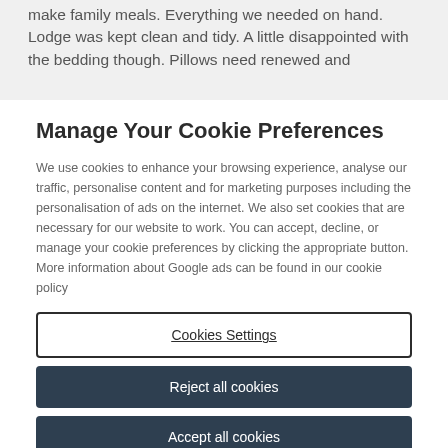make family meals. Everything we needed on hand. Lodge was kept clean and tidy. A little disappointed with the bedding though. Pillows need renewed and
Manage Your Cookie Preferences
We use cookies to enhance your browsing experience, analyse our traffic, personalise content and for marketing purposes including the personalisation of ads on the internet. We also set cookies that are necessary for our website to work. You can accept, decline, or manage your cookie preferences by clicking the appropriate button. More information about Google ads can be found in our cookie policy
Cookies Settings
Reject all cookies
Accept all cookies